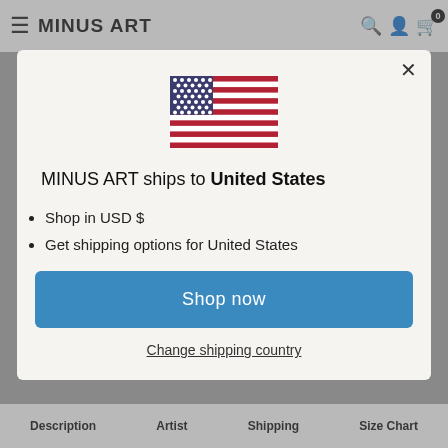MINUS ART
[Figure (illustration): US flag emoji/illustration centered in modal]
MINUS ART ships to United States
Shop in USD $
Get shipping options for United States
Shop now
Change shipping country
Description   Artist   Shipping   Size Chart